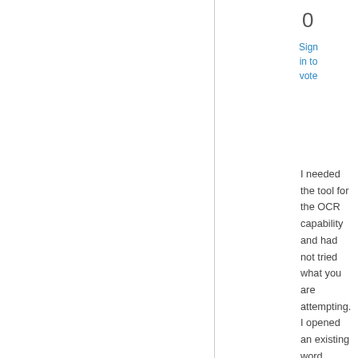0
Sign in to vote
I needed the tool for the OCR capability and had not tried what you are attempting. I opened an existing word document, clicked the print icon, selected Microsoft Office Document Image Writer as the printer, selected my desktop as the "SaveAs" location, then clicked the Save button. I should note that the only type of file I am able to generate is a TIFF file. But, it did generate a file with all pages intact which I was able open and view in the MODI tool.
Was your example document an Office document (docx, doc, etc.)